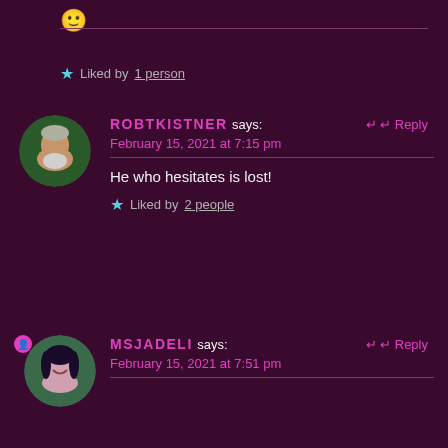🙂
★ Liked by 1 person
ROBTKISTNER says: Reply
February 15, 2021 at 7:15 pm
He who hesitates is lost!
★ Liked by 2 people
MSJADELI says: Reply
February 15, 2021 at 7:51 pm